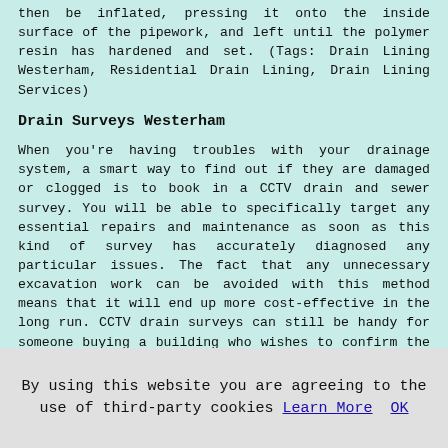then be inflated, pressing it onto the inside surface of the pipework, and left until the polymer resin has hardened and set. (Tags: Drain Lining Westerham, Residential Drain Lining, Drain Lining Services)
Drain Surveys Westerham
When you're having troubles with your drainage system, a smart way to find out if they are damaged or clogged is to book in a CCTV drain and sewer survey. You will be able to specifically target any essential repairs and maintenance as soon as this kind of survey has accurately diagnosed any particular issues. The fact that any unnecessary excavation work can be avoided with this method means that it will end up more cost-effective in the long run. CCTV drain surveys can still be handy for someone buying a building who wishes to confirm the condition of the drains, an individual selling a house or building who wants to assure buyers that the drains are in good condition or a person who has had building work carried out on their house, to ensure that the drains haven't been damaged in any way, even when there are not any problems with the drainage system right now.You'll be able to discover much more on CCTV surveying at Drain Doctor
By using this website you are agreeing to the use of third-party cookies Learn More OK